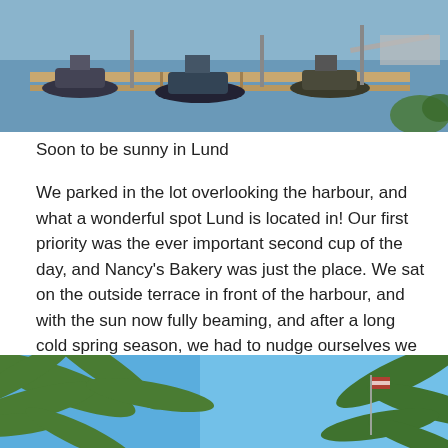[Figure (photo): Marina/harbour scene with boats docked at a wooden pier and water in the background]
Soon to be sunny in Lund
We parked in the lot overlooking the harbour, and what a wonderful spot Lund is located in! Our first priority was the ever important second cup of the day, and Nancy's Bakery was just the place. We sat on the outside terrace in front of the harbour, and with the sun now fully beaming, and after a long cold spring season, we had to nudge ourselves we were in the PNW.
[Figure (photo): Palm tree fronds against a bright blue sky with a flagpole visible in the background]